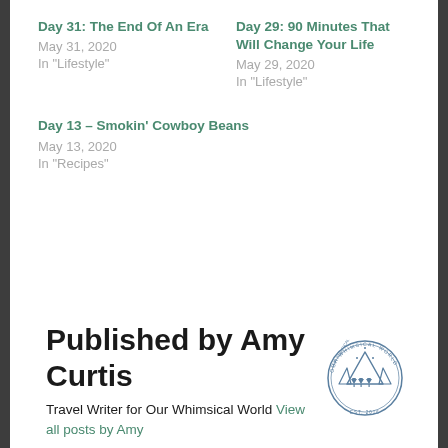Day 31: The End Of An Era
May 31, 2020
In "Lifestyle"
Day 29: 90 Minutes That Will Change Your Life
May 29, 2020
In "Lifestyle"
Day 13 – Smokin' Cowboy Beans
May 13, 2020
In "Recipes"
Published by Amy Curtis
Travel Writer for Our Whimsical World View all posts by Amy